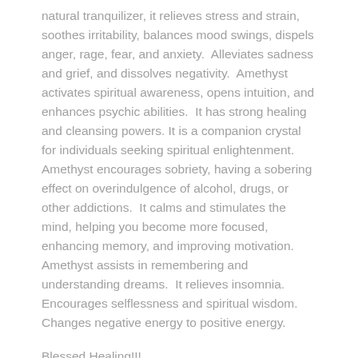natural tranquilizer, it relieves stress and strain, soothes irritability, balances mood swings, dispels anger, rage, fear, and anxiety.  Alleviates sadness and grief, and dissolves negativity.  Amethyst activates spiritual awareness, opens intuition, and enhances psychic abilities.  It has strong healing and cleansing powers. It is a companion crystal for individuals seeking spiritual enlightenment. Amethyst encourages sobriety, having a sobering effect on overindulgence of alcohol, drugs, or other addictions.  It calms and stimulates the mind, helping you become more focused, enhancing memory, and improving motivation.  Amethyst assists in remembering and understanding dreams.  It relieves insomnia.  Encourages selflessness and spiritual wisdom.  Changes negative energy to positive energy.
Blessed Healing!!!
Stones pictured are an example of what you will receive. Please allow for some differences as each